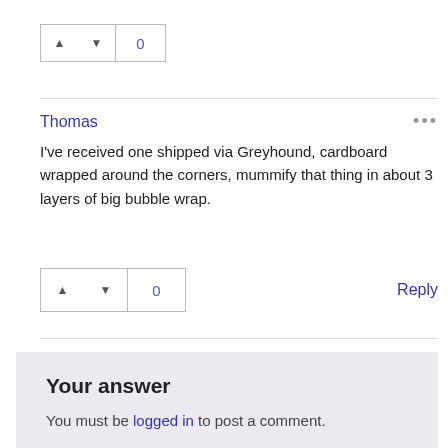[Figure (other): Vote widget with up arrow, down arrow, and score 0]
Thomas
I've received one shipped via Greyhound, cardboard wrapped around the corners, mummify that thing in about 3 layers of big bubble wrap.
[Figure (other): Vote widget with up arrow, down arrow, and score 0, plus Reply link]
Your answer
You must be logged in to post a comment.